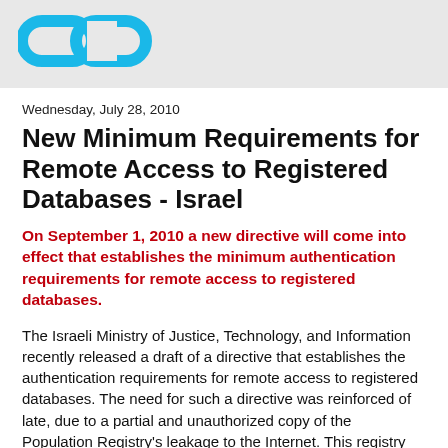[Figure (logo): Two linked chain rings / infinity-loop style logo in cyan/blue color]
Wednesday, July 28, 2010
New Minimum Requirements for Remote Access to Registered Databases - Israel
On September 1, 2010 a new directive will come into effect that establishes the minimum authentication requirements for remote access to registered databases.
The Israeli Ministry of Justice, Technology, and Information recently released a draft of a directive that establishes the authentication requirements for remote access to registered databases. The need for such a directive was reinforced of late, due to a partial and unauthorized copy of the Population Registry’s leakage to the Internet. This registry contains current information about all Israeli citizens (up to the year 2006), and includes details such as names and